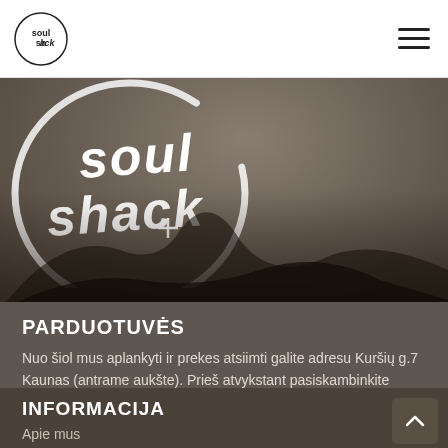Soul Shack logo and navigation menu
[Figure (logo): Soul Shack logo — white handwritten text 'soul shack' inside a brushstroke circle on a dark background]
PARDUOTUVĖS
Nuo šiol mus aplankyti ir prekes atsiimti galite adresu Kuršių g.7 Kaunas (antrame aukšte). Prieš atvykstant pasiskambinkite numeriu +37066939412, iki susitikimo!
INFORMACIJA
Apie mus